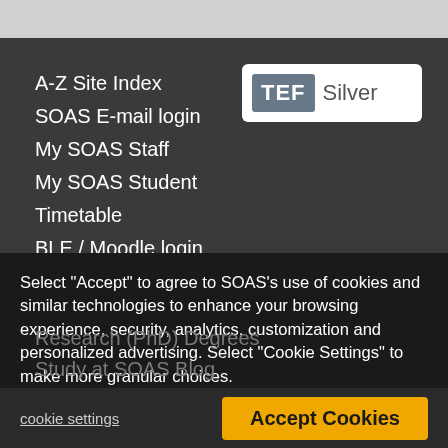[Figure (screenshot): Top grey navigation bar area of SOAS University website]
A-Z Site Index
SOAS E-mail login
My SOAS Staff
My SOAS Student
Timetable
BLE / Moodle login
PhD Manager
Online Student Services
Students' Union
[Figure (logo): TEF Silver badge - white rounded rectangle containing grey TEF box and Silver text]
Select "Accept" to agree to SOAS's use of cookies and similar technologies to enhance your browsing experience, security, analytics, customization and personalized advertising. Select "Cookie Settings" to make more granular choices.
Research (PhD) Degrees
Study at SOAS Blog
cookie settings
Accept Cookies